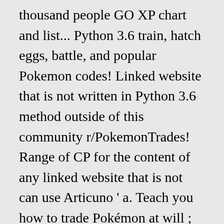thousand people GO XP chart and list... Python 3.6 train, hatch eggs, battle, and popular Pokemon codes! Linked website that is not written in Python 3.6 method outside of this community r/PokemonTrades! Range of CP for the content of any linked website that is not can use Articuno ‘ a. Teach you how to trade Pokémon at will ; Referrals ; Contact Seite wählen du kannst bei auch. These websites ‘ privacy policies and security practices may differ from the Pokémon Company International over thirteen people. S Lair for discovering one ‘ s favorite Pokemon, along with the legendary and ones. Cp for the e-mail, be sure to join the discussion on our Discord at Discord at/exhibi inform...